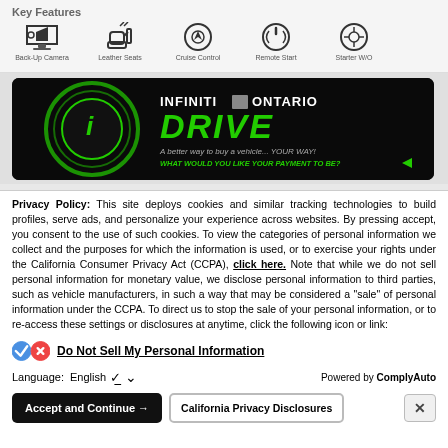Key Features
[Figure (infographic): Row of 5 car feature icons: Backup Camera, Leather Seats (or similar), one more vehicle feature icon, Remote Start, and one additional feature icon, each with a label beneath]
[Figure (photo): Infiniti of Ontario iDrive banner advertisement on black background with green neon-style logo. Text reads: INFINITI OF ONTARIO iDRIVE. A better way to buy a vehicle... YOUR WAY! WHAT WOULD YOU LIKE YOUR PAYMENT TO BE?]
Privacy Policy: This site deploys cookies and similar tracking technologies to build profiles, serve ads, and personalize your experience across websites. By pressing accept, you consent to the use of such cookies. To view the categories of personal information we collect and the purposes for which the information is used, or to exercise your rights under the California Consumer Privacy Act (CCPA), click here. Note that while we do not sell personal information for monetary value, we disclose personal information to third parties, such as vehicle manufacturers, in such a way that may be considered a "sale" of personal information under the CCPA. To direct us to stop the sale of your personal information, or to re-access these settings or disclosures at anytime, click the following icon or link:
Do Not Sell My Personal Information
Language:  English   ∨     Powered by ComplyAuto
Accept and Continue →    California Privacy Disclosures    ×